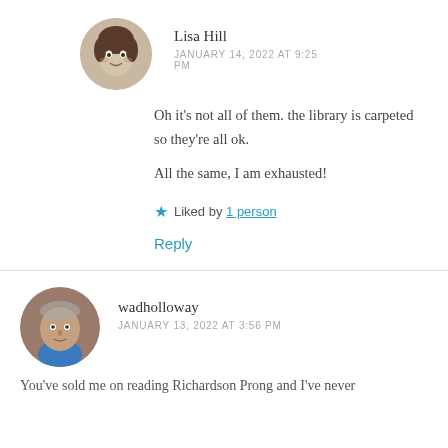[Figure (photo): Circular avatar photo of Lisa Hill, a child with short hair, black and white photo]
Lisa Hill
JANUARY 14, 2022 AT 9:25 PM
Oh it’s not all of them. the library is carpeted so they’re all ok.
All the same, I am exhausted!
★ Liked by 1 person
Reply
[Figure (photo): Circular avatar photo of wadholloway, a person in a blue top, color photo]
wadholloway
JANUARY 13, 2022 AT 3:56 PM
You’ve sold me on reading Richardson Prong and I’ve never